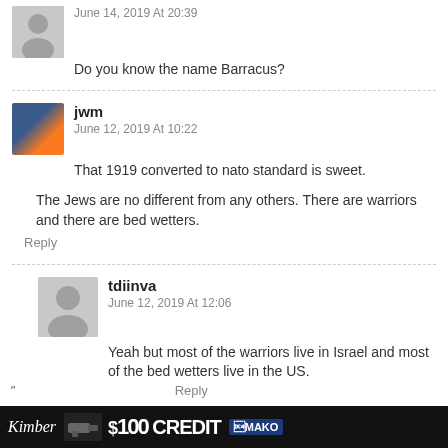June 14, 2019 At 20:39
Do you know the name Barracus?
jwm
June 12, 2019 At 10:22
That 1919 converted to nato standard is sweet.
The Jews are no different from any others. There are warriors and there are bed wetters.
Reply
tdiinva
June 12, 2019 At 12:06
Yeah but most of the warriors live in Israel and most of the bed wetters live in the US.
Reply
[Figure (infographic): Advertisement banner: Kimber script logo, handgun image, $100 CREDIT text, MAKO logo]